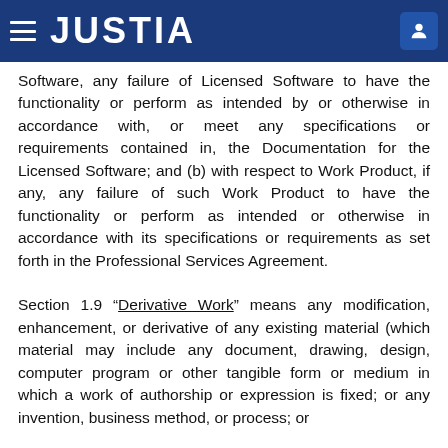JUSTIA
Software, any failure of Licensed Software to have the functionality or perform as intended by or otherwise in accordance with, or meet any specifications or requirements contained in, the Documentation for the Licensed Software; and (b) with respect to Work Product, if any, any failure of such Work Product to have the functionality or perform as intended or otherwise in accordance with its specifications or requirements as set forth in the Professional Services Agreement.
Section 1.9 “Derivative Work” means any modification, enhancement, or derivative of any existing material (which material may include any document, drawing, design, computer program or other tangible form or medium in which a work of authorship or expression is fixed; or any invention, business method, or process; or